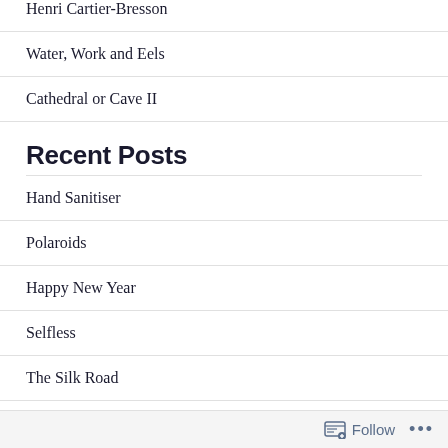Henri Cartier-Bresson
Water, Work and Eels
Cathedral or Cave II
Recent Posts
Hand Sanitiser
Polaroids
Happy New Year
Selfless
The Silk Road
Follow ...